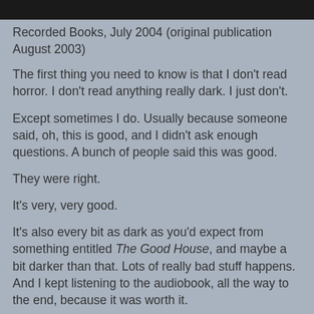[Figure (photo): Partial image visible at top of page, dark/black bar]
Recorded Books, July 2004 (original publication August 2003)
The first thing you need to know is that I don't read horror. I don't read anything really dark. I just don't.
Except sometimes I do. Usually because someone said, oh, this is good, and I didn't ask enough questions. A bunch of people said this was good.
They were right.
It's very, very good.
It's also every bit as dark as you'd expect from something entitled The Good House, and maybe a bit darker than that. Lots of really bad stuff happens. And I kept listening to the audiobook, all the way to the end, because it was worth it.
Lis Carey at 12:30 AM    No comments:
Share